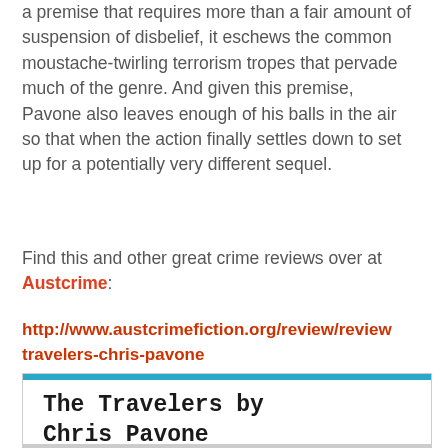a premise that requires more than a fair amount of suspension of disbelief, it eschews the common moustache-twirling terrorism tropes that pervade much of the genre. And given this premise, Pavone also leaves enough of his balls in the air so that when the action finally settles down to set up for a potentially very different sequel.
Find this and other great crime reviews over at Austcrime:
http://www.austcrimefiction.org/review/review travelers-chris-pavone
[Figure (other): Book listing box for The Travelers by Chris Pavone $29.99 AUD with a teal top bar and bottom row with two columns]